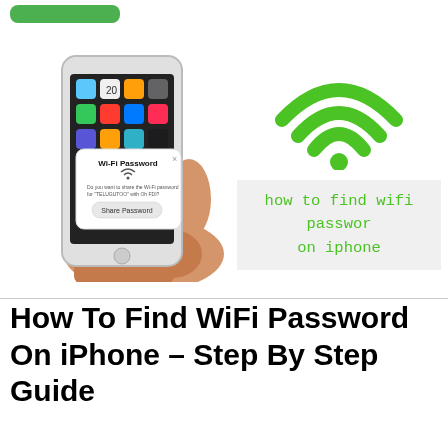[Figure (screenshot): Hand holding an iPhone displaying a Wi-Fi Password sharing dialog, alongside a large green wifi symbol and a text overlay reading 'how to find wifi password on iphone']
How To Find WiFi Password On iPhone – Step By Step Guide